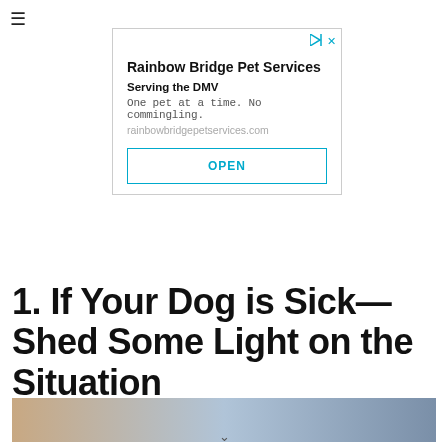[Figure (other): Hamburger menu icon (three horizontal lines) in top-left corner]
[Figure (other): Advertisement box for Rainbow Bridge Pet Services with title, subtitle 'Serving the DMV', body text 'One pet at a time. No commingling.', URL 'rainbowbridgepetservices.com', and an OPEN button]
1. If Your Dog is Sick—Shed Some Light on the Situation
[Figure (photo): Partial photo strip showing a dog or animal, tan and blue tones, cropped at bottom of page]